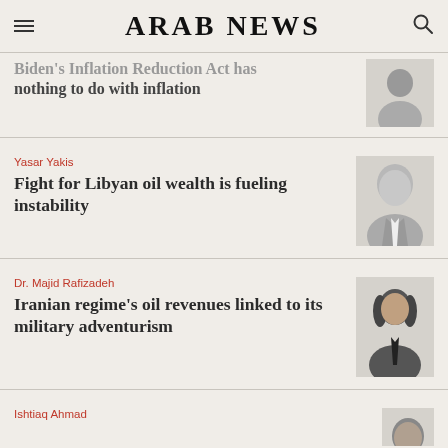ARAB NEWS
Biden's Inflation Reduction Act has nothing to do with inflation
Yasar Yakis
Fight for Libyan oil wealth is fueling instability
Dr. Majid Rafizadeh
Iranian regime's oil revenues linked to its military adventurism
Ishtiaq Ahmad